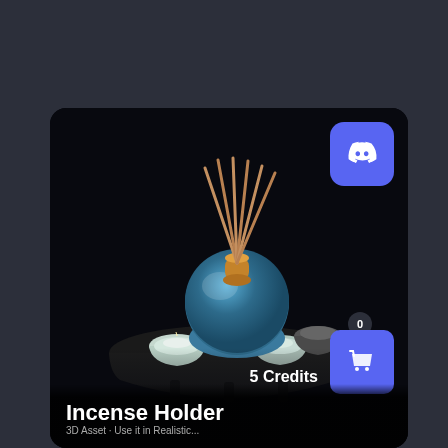[Figure (photo): Product card showing an incense holder set — a blue ceramic vase with reed diffuser sticks, three small candle cups on a black tray, displayed on a dark background. Discord icon button in top right corner. Shopping cart button with count badge 0 in bottom right.]
Incense Holder
5 Credits